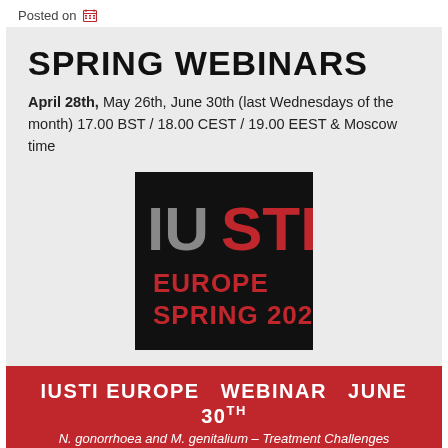Posted on
SPRING WEBINARS
April 28th, May 26th, June 30th (last Wednesdays of the month) 17.00 BST / 18.00 CEST / 19.00 EEST & Moscow time
[Figure (logo): IUSTI Europe Spring 2021 logo on black background with grey IU and red STI text, and red text EUROPE SPRING 2021 below]
IUSTI EUROPE  WEBINAR  JUNE 30TH
N. gonorrhoea and M. genitalium – Treatment Challenges